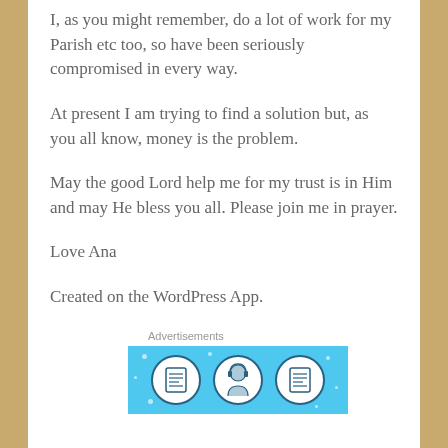I, as you might remember, do a lot of work for my Parish etc too, so have been seriously compromised in every way.
At present I am trying to find a solution but, as you all know, money is the problem.
May the good Lord help me for my trust is in Him and may He bless you all. Please join me in prayer.
Love Ana
Created on the WordPress App.
Advertisements
[Figure (illustration): Blue advertisement banner with circular icons depicting documents and a person with headset, on a light blue background with white sparkle dots.]